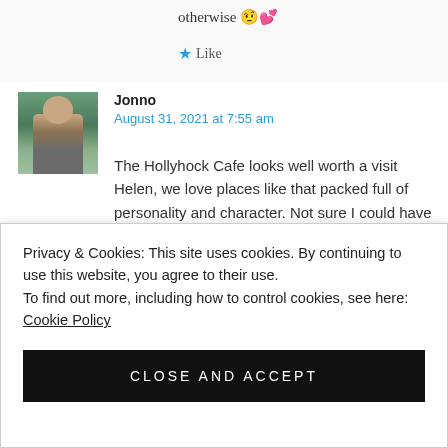otherwise 🤨💕
★ Like
[Figure (photo): Avatar photo of commenter Jonno, appearing to be an outdoor photo of a person with arms crossed]
Jonno
August 31, 2021 at 7:55 am
The Hollyhock Cafe looks well worth a visit Helen, we love places like that packed full of personality and character. Not sure I could have resisted some of those pastry type of
Privacy & Cookies: This site uses cookies. By continuing to use this website, you agree to their use.
To find out more, including how to control cookies, see here: Cookie Policy
CLOSE AND ACCEPT